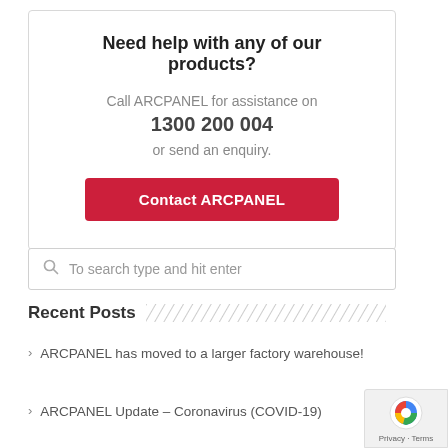Need help with any of our products?
Call ARCPANEL for assistance on
1300 200 004
or send an enquiry.
Contact ARCPANEL
To search type and hit enter
Recent Posts
ARCPANEL has moved to a larger factory warehouse!
ARCPANEL Update – Coronavirus (COVID-19)